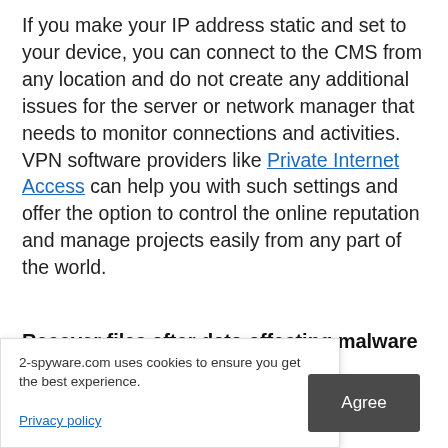If you make your IP address static and set to your device, you can connect to the CMS from any location and do not create any additional issues for the server or network manager that needs to monitor connections and activities. VPN software providers like Private Internet Access can help you with such settings and offer the option to control the online reputation and manage projects easily from any part of the world.
Recover files after data-affecting malware attacks
While much of the data can be accidentally deleted due to ... culprits that ... os, and other ... ions lead to ... custom files